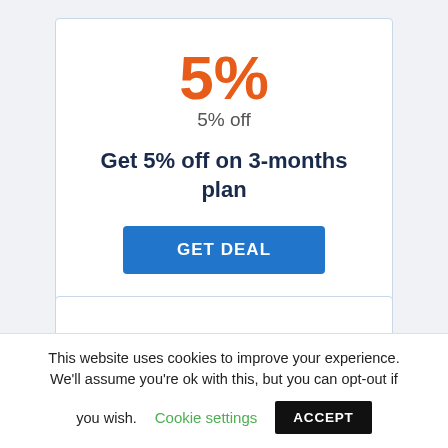5%
5% off
Get 5% off on 3-months plan
GET DEAL
This website uses cookies to improve your experience. We'll assume you're ok with this, but you can opt-out if you wish.
Cookie settings
ACCEPT